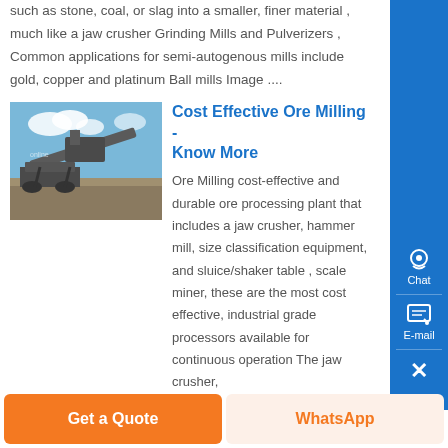such as stone, coal, or slag into a smaller, finer material , much like a jaw crusher Grinding Mills and Pulverizers , Common applications for semi-autogenous mills include gold, copper and platinum Ball mills Image ....
[Figure (photo): Photo of a large industrial ore crushing/conveying machine in an outdoor setting with blue sky]
Cost Effective Ore Milling - Know More
Ore Milling cost-effective and durable ore processing plant that includes a jaw crusher, hammer mill, size classification equipment, and sluice/shaker table , scale miner, these are the most cost effective, industrial grade processors available for continuous operation The jaw crusher,